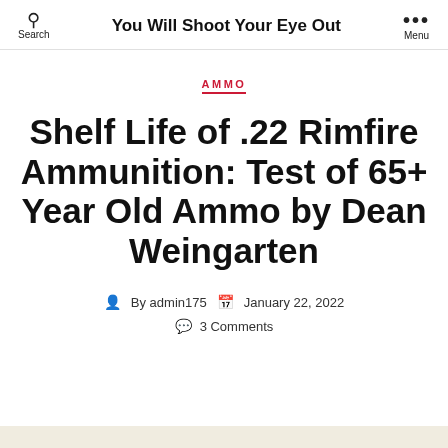You Will Shoot Your Eye Out
AMMO
Shelf Life of .22 Rimfire Ammunition: Test of 65+ Year Old Ammo by Dean Weingarten
By admin175   January 22, 2022
3 Comments